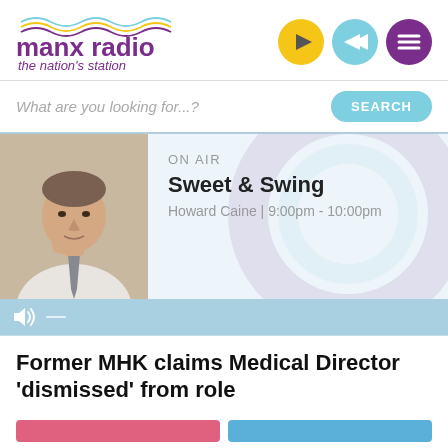[Figure (logo): Manx Radio logo with wavy lines above text 'manx radio the nation's station']
[Figure (infographic): Three circular nav buttons: yellow play button, blue rewind button, purple menu (hamburger) button]
What are you looking for...?
SEARCH
[Figure (photo): Presenter photo of Howard Caine, a middle-aged man in a white shirt with a tie, hand near chin]
ON AIR
Sweet & Swing
Howard Caine | 9:00pm - 10:00pm
Former MHK claims Medical Director 'dismissed' from role